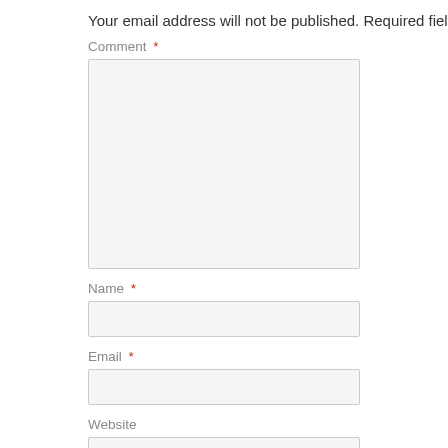Your email address will not be published. Required fiel
Comment *
Name *
Email *
Website